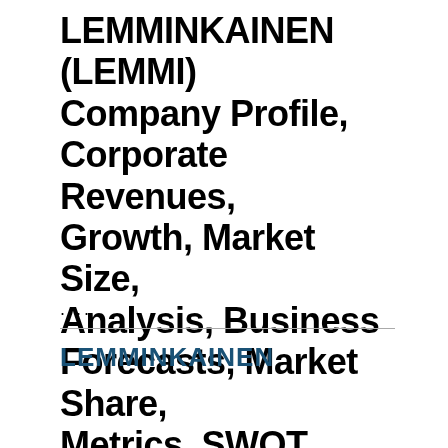LEMMINKAINEN (LEMMI) Company Profile, Corporate Revenues, Growth, Market Size, Analysis, Business Forecasts, Market Share, Metrics, SWOT
....
LEMMINKAINEN